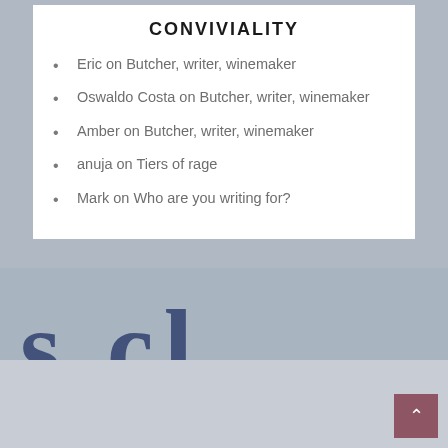CONVIVIALITY
Eric on Butcher, writer, winemaker
Oswaldo Costa on Butcher, writer, winemaker
Amber on Butcher, writer, winemaker
anuja on Tiers of rage
Mark on Who are you writing for?
[Figure (photo): Background image showing large blue letters on a light stone or painted surface, partially cropped. Visible letters appear to be 's cl' or similar.]